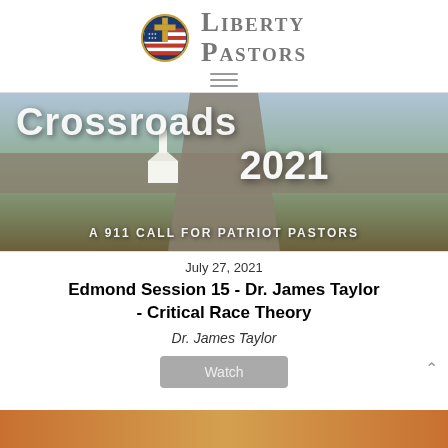[Figure (logo): Liberty Pastors logo: circular emblem with cross over American flag design, beside text 'Liberty Pastors' in large serif font]
[Figure (illustration): Aerial photograph of rural crossroads with a white church, overlaid with large text 'Crossroads 2021' and subtitle 'A 911 CALL FOR PATRIOT PASTORS']
July 27, 2021
Edmond Session 15 - Dr. James Taylor - Critical Race Theory
Dr. James Taylor
Watch
[Figure (photo): Partial bottom image strip, appears to be another event or session thumbnail]